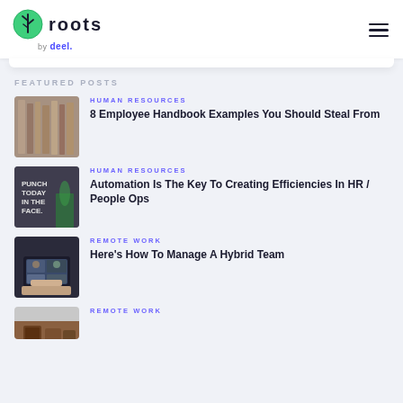roots by deel.
FEATURED POSTS
HUMAN RESOURCES — 8 Employee Handbook Examples You Should Steal From
HUMAN RESOURCES — Automation Is The Key To Creating Efficiencies In HR / People Ops
REMOTE WORK — Here's How To Manage A Hybrid Team
REMOTE WORK